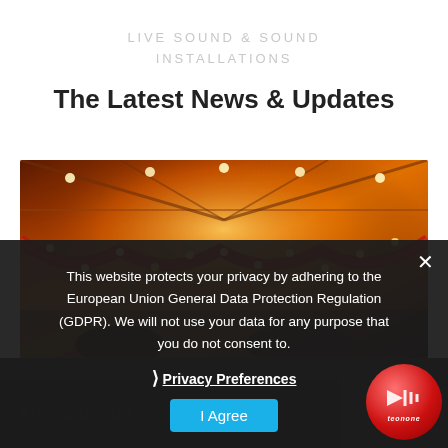LIVE SOUND & SOUND INSTALLATIONS
The Latest News & Updates
[Figure (photo): Carnival or theatre stage with warm orange and golden lights, decorative fabric draping with illuminated string lights]
This website protects your privacy by adhering to the European Union General Data Protection Regulation (GDPR). We will not use your data for any purpose that you do not consent to.
❯ Privacy Preferences
I Agree
Arrogante Res...